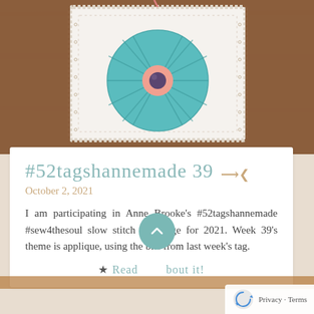[Figure (photo): Top portion of a blog page showing a white lace-bordered fabric tag with a teal/turquoise yo-yo flower applique on a wooden surface background]
#52tagshannemade 39
October 2, 2021
I am participating in Anne Brooke's #52tagshannemade #sew4thesoul slow stitch challenge for 2021. Week 39's theme is applique, using the bits from last week's tag.
★ Read more about it!
Privacy · Terms